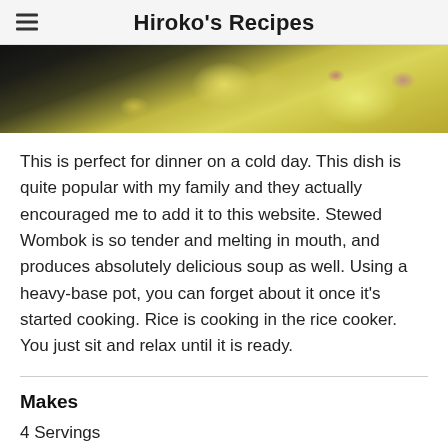Hiroko's Recipes
[Figure (photo): Top portion of a bowl of stewed wombok (Chinese cabbage) dish, showing tender yellowish-green cabbage leaves and other ingredients in a dark bowl]
This is perfect for dinner on a cold day. This dish is quite popular with my family and they actually encouraged me to add it to this website. Stewed Wombok is so tender and melting in mouth, and produces absolutely delicious soup as well. Using a heavy-base pot, you can forget about it once it's started cooking. Rice is cooking in the rice cooker.  You just sit and relax until it is ready.
Makes
4 Servings
Ingredients